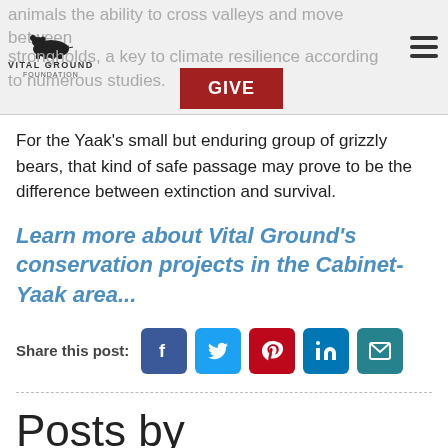animals the ability to cross valleys and move between strongholds, a key to climate resilience according to numerous studies.
For the Yaak's small but enduring group of grizzly bears, that kind of safe passage may prove to be the difference between extinction and survival.
Learn more about Vital Ground's conservation projects in the Cabinet-Yaak area...
Share this post:
Posts by Category